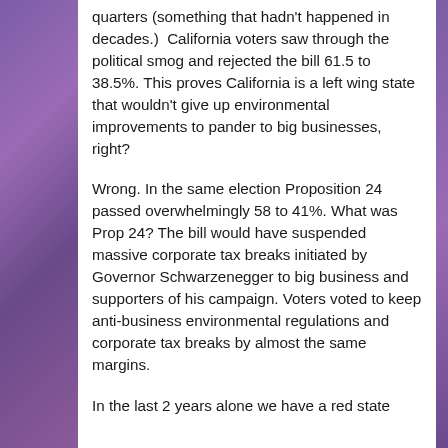quarters (something that hadn't happened in decades.)  California voters saw through the political smog and rejected the bill 61.5 to 38.5%. This proves California is a left wing state that wouldn't give up environmental improvements to pander to big businesses, right?
Wrong. In the same election Proposition 24 passed overwhelmingly 58 to 41%. What was Prop 24? The bill would have suspended massive corporate tax breaks initiated by Governor Schwarzenegger to big business and supporters of his campaign. Voters voted to keep anti-business environmental regulations and corporate tax breaks by almost the same margins.
In the last 2 years alone we have a red state